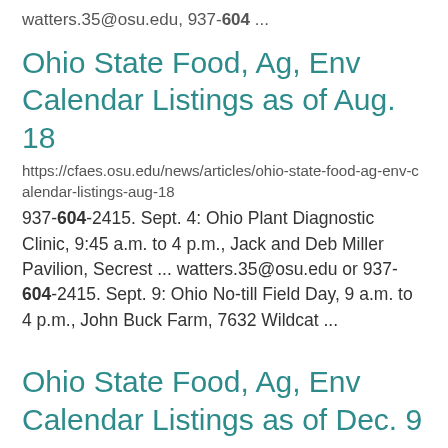watters.35@osu.edu, 937-604 ...
Ohio State Food, Ag, Env Calendar Listings as of Aug. 18
https://cfaes.osu.edu/news/articles/ohio-state-food-ag-env-calendar-listings-aug-18
937-604-2415. Sept. 4: Ohio Plant Diagnostic Clinic, 9:45 a.m. to 4 p.m., Jack and Deb Miller Pavilion, Secrest ... watters.35@osu.edu or 937-604-2415. Sept. 9: Ohio No-till Field Day, 9 a.m. to 4 p.m., John Buck Farm, 7632 Wildcat ...
Ohio State Food, Ag, Env Calendar Listings as of Dec. 9